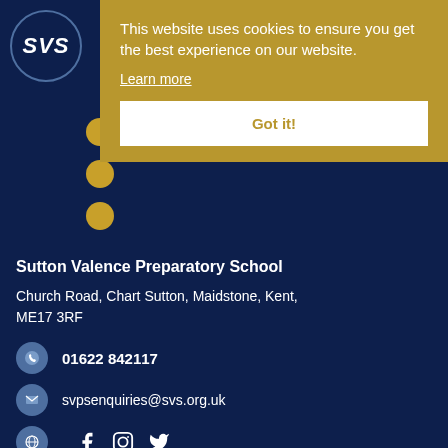[Figure (logo): SVS school logo circle with stylized SVS initials]
This website uses cookies to ensure you get the best experience on our website.
Learn more
Got it!
Sutton Valence Preparatory School
Church Road, Chart Sutton, Maidstone, Kent, ME17 3RF
01622 842117
svpsenquiries@svs.org.uk
Little Lambs Nursery
Church Road, Chart Sutton, Maidstone, Kent, ME17 3RF